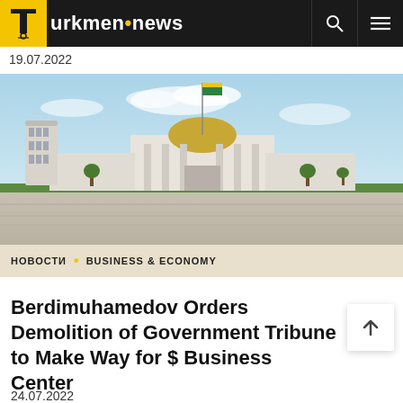Turkmen.news
19.07.2022
[Figure (photo): Wide-angle photograph of a Turkmen government building with a golden dome and flagpole, white marble architecture, open plaza, blue sky with clouds, cylindrical tower building to the left.]
НОВОСТИ • BUSINESS & ECONOMY
Berdimuhamedov Orders Demolition of Government Tribune to Make Way for $ Business Center
24.07.2022